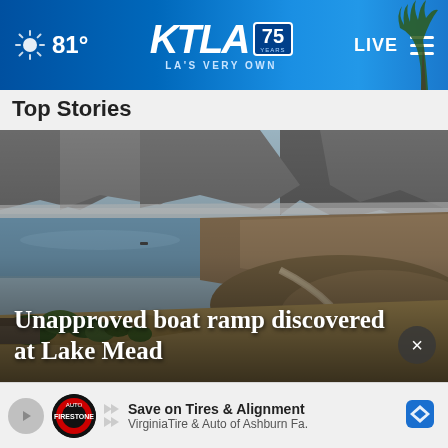81° KTLA 75 YEARS LA'S VERY OWN LIVE
Top Stories
[Figure (photo): Lake Mead landscape photo showing dry rocky mountains, exposed lake shoreline with white mineral deposits indicating low water levels, and sparse vegetation. Blue-grey water visible in the middle distance.]
Unapproved boat ramp discovered at Lake Mead
[Figure (infographic): Advertisement bar at bottom: Save on Tires & Alignment - VirginiaTire & Auto of Ashburn Fa. with Firestone Auto logo and navigation arrow icon.]